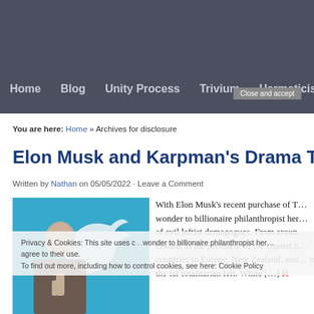Home   Blog   Unity Process   Trivium   Hermeticism
You are here: Home » Archives for disclosure
Elon Musk and Karpman's Drama Tr…
Written by Nathan on 05/05/2022 · Leave a Comment
[Figure (photo): Photo of Elon Musk with Twitter bird logo in background]
With Elon Musk's recent purchase of T… wonder to billionaire philanthropist her… of evil leftist demagogues. From aroun… Obama as the president of the United S… countries in Europe, New Zealand, and… to the far totalitarian left. While […] R…
Privacy & Cookies: This site uses c… wonder to billionaire philanthropist her… agree to their use.
To find out more, including how to control cookies, see here: Cookie Policy
Close and accept